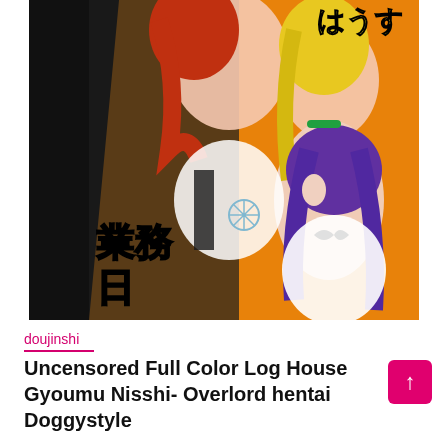[Figure (illustration): Anime/manga style cover art showing multiple female characters in maid-style black and white outfits against an orange background, with Japanese text overlaid. Text includes Japanese characters at top right and bottom left reading 業務日 and はうす.]
doujinshi
Uncensored Full Color Log House Gyoumu Nisshi- Overlord hentai Doggystyle